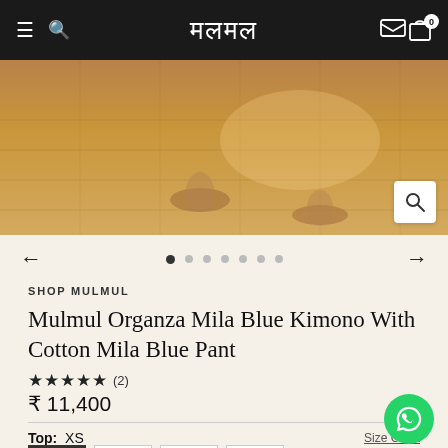मलमल
[Figure (photo): Product photo showing feet on a wooden floor, partially cropped]
← • • • • • • →
SHOP MULMUL
Mulmul Organza Mila Blue Kimono With Cotton Mila Blue Pant
★★★★★ (2)
₹ 11,400
Top: XS
Size Chart